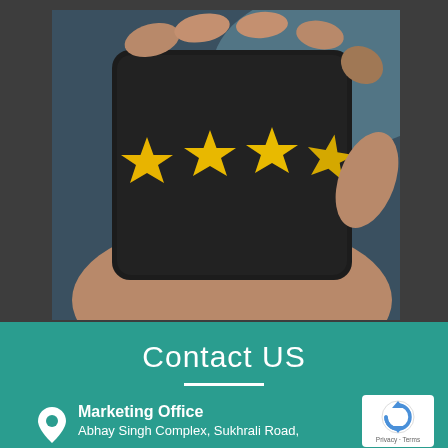[Figure (photo): Close-up photo of hands holding a smartphone with four golden stars displayed on the screen, representing a rating review concept. Dark background with blurred bokeh.]
Contact US
Marketing Office
Abhay Singh Complex, Sukhrali Road,